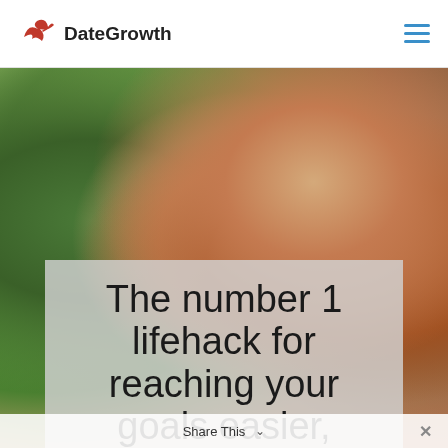DateGrowth
[Figure (photo): Close-up photo of bare feet raised up against a sunny outdoor background with green trees and warm bokeh light]
The number 1 lifehack for reaching your goals easier,
Share This